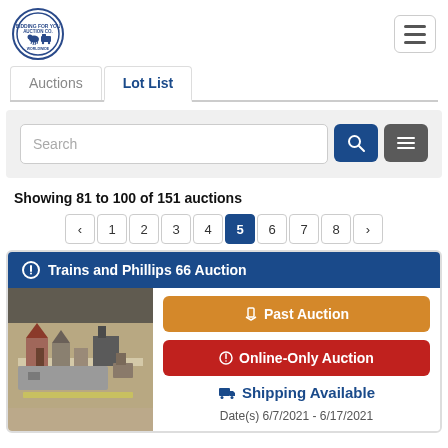[Figure (logo): Circular auction company logo with blue border and animal/train imagery]
Auctions   Lot List
Search
Showing 81 to 100 of 151 auctions
< 1 2 3 4 5 6 7 8 >
Trains and Phillips 66 Auction
[Figure (photo): Photo of model train buildings and structures on a table]
Past Auction
Online-Only Auction
Shipping Available
Date(s) 6/7/2021 - 6/17/2021